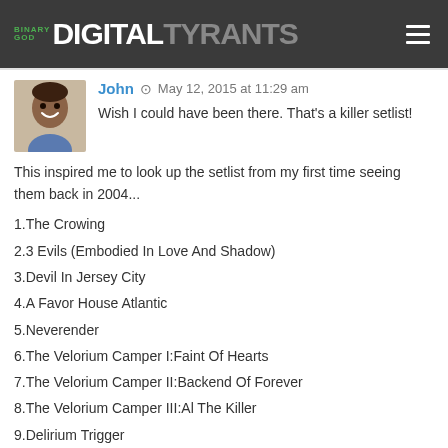Binary God Digital Tyrants
John  May 12, 2015 at 11:29 am
Wish I could have been there. That's a killer setlist!
This inspired me to look up the setlist from my first time seeing them back in 2004...
1.The Crowing
2.3 Evils (Embodied In Love And Shadow)
3.Devil In Jersey City
4.A Favor House Atlantic
5.Neverender
6.The Velorium Camper I:Faint Of Hearts
7.The Velorium Camper II:Backend Of Forever
8.The Velorium Camper III:Al The Killer
9.Delirium Trigger
10.Blood Red Summer
11.Everything Evil